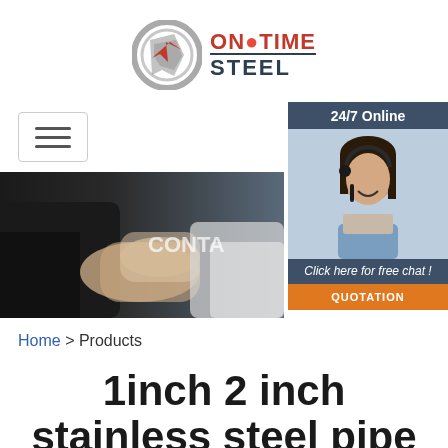[Figure (logo): OnTime Steel company logo with stylized steel coil/arrow icon and text 'ONTIME STEEL']
[Figure (infographic): Hamburger menu icon (three horizontal lines) inside a rounded rectangle]
[Figure (photo): Two people shaking hands in business attire with 'CONTA' text overlay]
[Figure (photo): 24/7 Online chat widget showing a woman with headset, 'Click here for free chat!' text and QUOTATION button]
Home > Products
1inch 2 inch stainless steel pipe 316 ss304 sus316